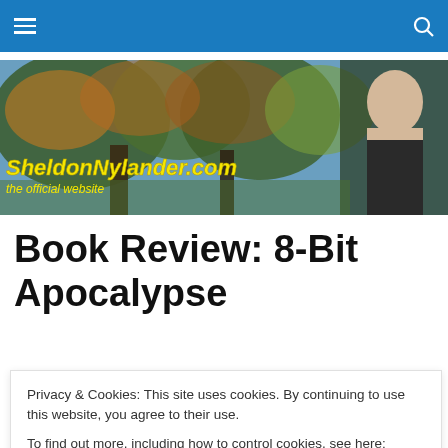Navigation bar with hamburger menu and search icon
[Figure (photo): Website banner showing autumn trees with a person in the right corner. Yellow text reads 'SheldonNylander.com' and italic subtitle 'the official website'.]
Book Review: 8-Bit Apocalypse
8-Bit Apocalypse by Amanda Billings
Privacy & Cookies: This site uses cookies. By continuing to use this website, you agree to their use.
To find out more, including how to control cookies, see here: Cookie Policy
to whisper videos on his phone to soothe